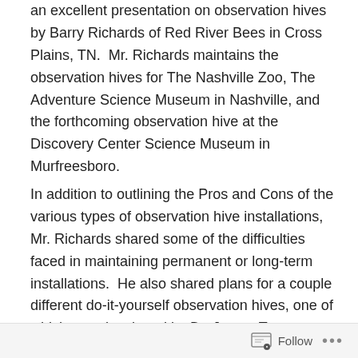an excellent presentation on observation hives by Barry Richards of Red River Bees in Cross Plains, TN.  Mr. Richards maintains the observation hives for The Nashville Zoo, The Adventure Science Museum in Nashville, and the forthcoming observation hive at the Discovery Center Science Museum in Murfreesboro.
In addition to outlining the Pros and Cons of the various types of observation hive installations, Mr. Richards shared some of the difficulties faced in maintaining permanent or long-term installations.  He also shared plans for a couple different do-it-yourself observation hives, one of which was developed by Dr. James Tew.  Another set of simple plans he found on beesource.com, an online beekeeping forum.  A link to those plans is included below, and here are the plans for James Tew's
Follow •••